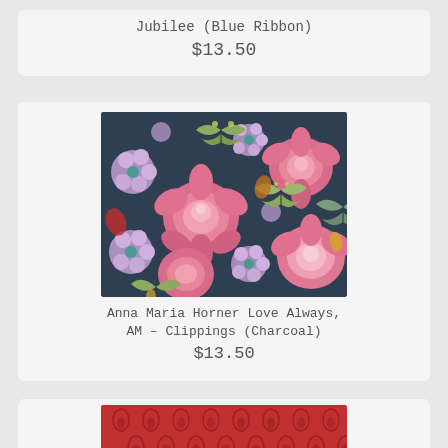Jubilee (Blue Ribbon)
$13.50
[Figure (photo): Fabric pattern with roses and butterflies on dark charcoal/navy background — Anna Maria Horner Love Always, AM - Clippings (Charcoal)]
Anna Maria Horner Love Always, AM – Clippings (Charcoal)
$13.50
[Figure (photo): Red fabric with repeating teardrop/paisley pattern]